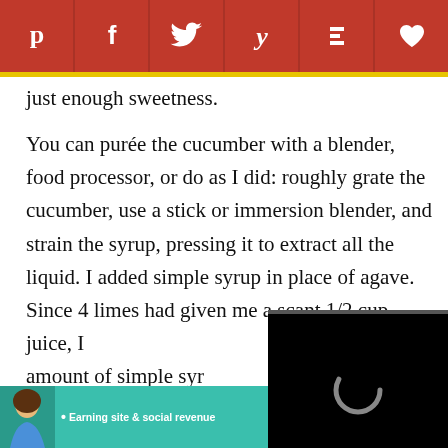[Figure (other): Social media share bar with Pinterest, Facebook, Twitter, Yummly, Flipboard, and heart/favorite icons on a dark red background]
just enough sweetness.
You can purée the cucumber with a blender, food processor, or do as I did: roughly grate the cucumber, use a stick or immersion blender, and strain the syrup, pressing it to extract all the liquid. I added simple syrup in place of agave. Since 4 limes had given me a scant 1/2 cup juice, I [text obscured by video] amount of simple syrup [text obscured] chilled the glasses w[text obscured] a small pitcher along[text obscured]
[Figure (screenshot): Video player overlay showing a black screen with a loading spinner and playback controls showing 06:14 duration]
[Figure (other): SHE Partner Network advertisement banner on teal background with woman photo, text 'Earning site & social revenue', SHE logo, and LEARN MORE button]